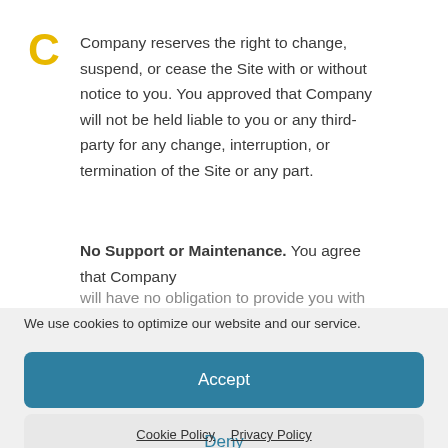Company reserves the right to change, suspend, or cease the Site with or without notice to you. You approved that Company will not be held liable to you or any third-party for any change, interruption, or termination of the Site or any part.
No Support or Maintenance. You agree that Company will have no obligation to provide you with any support in
We use cookies to optimize our website and our service.
Accept
Deny
Cookie Policy   Privacy Policy